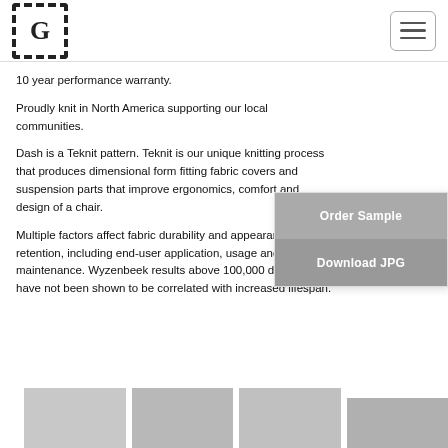[Figure (logo): Square logo with letter G in center, stamp/postage style border with dashed/perforated edges]
10 year performance warranty.
Proudly knit in North America supporting our local communities.
Dash is a Teknit pattern. Teknit is our unique knitting process that produces dimensional form fitting fabric covers and suspension parts that improve ergonomics, comfort and design of a chair.
Multiple factors affect fabric durability and appearance retention, including end-user application, usage and maintenance. Wyzenbeek results above 100,000 double rubs have not been shown to be correlated with increased lifespan.
[Figure (screenshot): Popup overlay with two gray buttons: Order Sample and Download JPG]
[Figure (photo): Bottom row of product/fabric thumbnail images, partially visible]